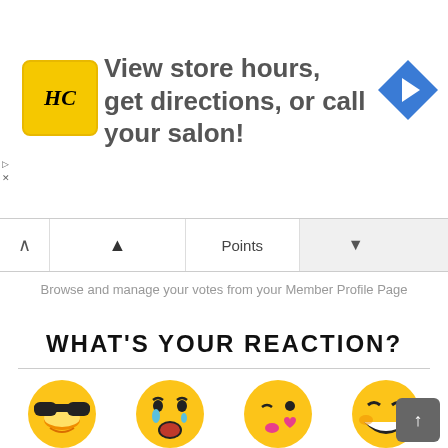[Figure (screenshot): Advertisement banner for HC salon with logo, text 'View store hours, get directions, or call your salon!' and navigation arrow icon]
Browse and manage your votes from your Member Profile Page
WHAT'S YOUR REACTION?
[Figure (infographic): Four emoji reactions: cool (sunglasses face), cry (loudly crying face), cute (kissing face with heart), LOL (grinning squinting face)]
| COOL | CRY | CUTE | LOL |
| --- | --- | --- | --- |
| 1 | 3 | 5 | 30 |